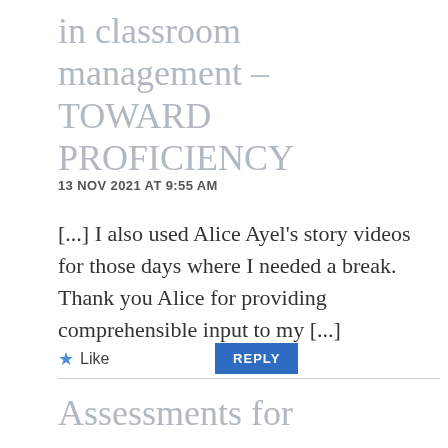in classroom management – TOWARD PROFICIENCY
13 NOV 2021 AT 9:55 AM
[...] I also used Alice Ayel's story videos for those days where I needed a break. Thank you Alice for providing comprehensible input to my [...]
Like
REPLY
Assessments for